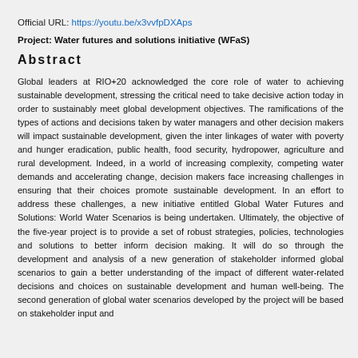Official URL: https://youtu.be/x3vvfpDXAps
Project: Water futures and solutions initiative (WFaS)
Abstract
Global leaders at RIO+20 acknowledged the core role of water to achieving sustainable development, stressing the critical need to take decisive action today in order to sustainably meet global development objectives. The ramifications of the types of actions and decisions taken by water managers and other decision makers will impact sustainable development, given the inter linkages of water with poverty and hunger eradication, public health, food security, hydropower, agriculture and rural development. Indeed, in a world of increasing complexity, competing water demands and accelerating change, decision makers face increasing challenges in ensuring that their choices promote sustainable development. In an effort to address these challenges, a new initiative entitled Global Water Futures and Solutions: World Water Scenarios is being undertaken. Ultimately, the objective of the five-year project is to provide a set of robust strategies, policies, technologies and solutions to better inform decision making. It will do so through the development and analysis of a new generation of stakeholder informed global scenarios to gain a better understanding of the impact of different water-related decisions and choices on sustainable development and human well-being. The second generation of global water scenarios developed by the project will be based on stakeholder input and